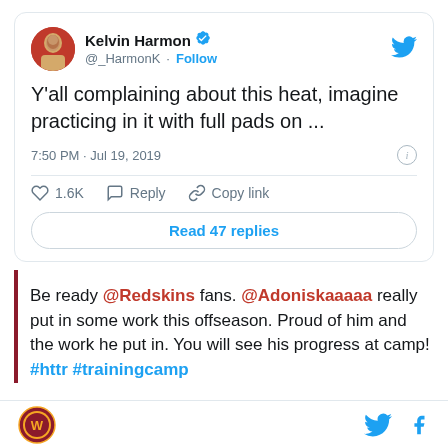[Figure (screenshot): Tweet from Kelvin Harmon (@_HarmonK) with verified badge and Follow button. Tweet text: Y'all complaining about this heat, imagine practicing in it with full pads on ... Posted at 7:50 PM · Jul 19, 2019. Actions: 1.6K likes, Reply, Copy link. Button: Read 47 replies.]
Be ready @Redskins fans. @Adoniskaaaaa really put in some work this offseason. Proud of him and the work he put in. You will see his progress at camp! #httr #trainingcamp
footer with Redskins logo, Twitter bird icon, and Facebook icon